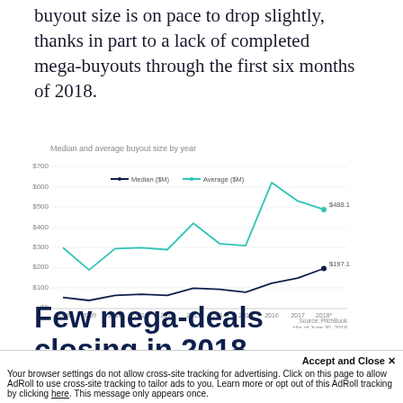buyout size is on pace to drop slightly, thanks in part to a lack of completed mega-buyouts through the first six months of 2018.
[Figure (line-chart): Median and average buyout size by year]
Source: PitchBook
*As of June 30, 2018
Few mega-deals closing in 2018
Accept and Close ✕
Your browser settings do not allow cross-site tracking for advertising. Click on this page to allow AdRoll to use cross-site tracking to tailor ads to you. Learn more or opt out of this AdRoll tracking by clicking here. This message only appears once.